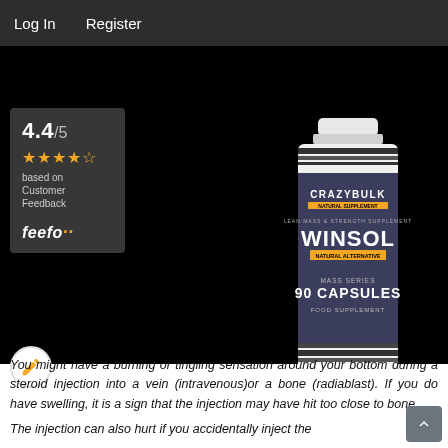Log In   Register
[Figure (photo): CrazyBulk Winsol supplement bottle (90 capsules, natural alternative) on a black background, with a Feefo rating box showing 4.4/5 based on customer feedback.]
You might have a burning or tingling sensation around your bottom during a steroid injection into a vein (intravenous)or a bone (radiablast). If you do have swelling, it is a sign that the injection may have hit too close to bone.
The injection can also hurt if you accidentally inject the